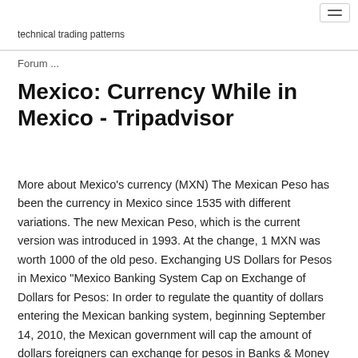technical trading patterns
Forum ...
Mexico: Currency While in Mexico - Tripadvisor
More about Mexico's currency (MXN) The Mexican Peso has been the currency in Mexico since 1535 with different variations. The new Mexican Peso, which is the current version was introduced in 1993. At the change, 1 MXN was worth 1000 of the old peso. Exchanging US Dollars for Pesos in Mexico "Mexico Banking System Cap on Exchange of Dollars for Pesos: In order to regulate the quantity of dollars entering the Mexican banking system, beginning September 14, 2010, the Mexican government will cap the amount of dollars foreigners can exchange for pesos in Banks & Money Exchange Establishments to no more than US$1,500 per month. MXN - Mexican Peso rates, news, and tools The Mexican Peso is the currency of Mexico. Our currency rankings show that the most